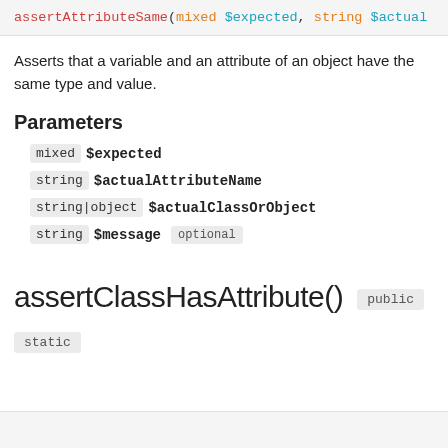assertAttributeSame(mixed $expected, string $actual
Asserts that a variable and an attribute of an object have the same type and value.
Parameters
mixed $expected
string $actualAttributeName
string|object $actualClassOrObject
string $message  optional
assertClassHasAttribute()  public
static